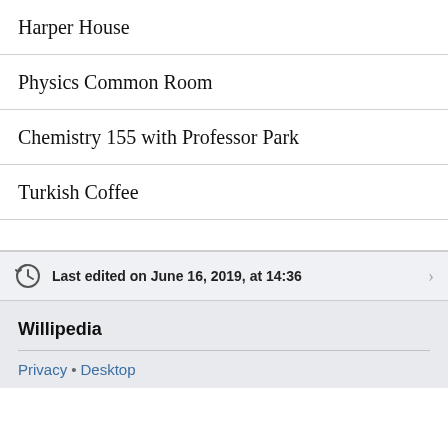Harper House
Physics Common Room
Chemistry 155 with Professor Park
Turkish Coffee
Last edited on June 16, 2019, at 14:36
Willipedia
Privacy • Desktop